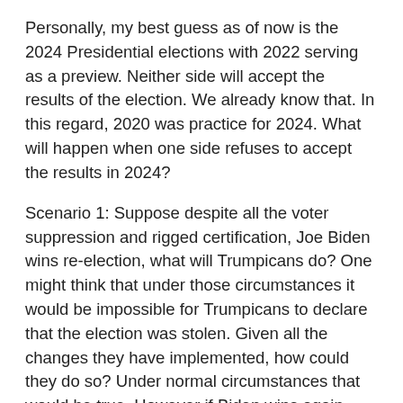Personally, my best guess as of now is the 2024 Presidential elections with 2022 serving as a preview. Neither side will accept the results of the election. We already know that. In this regard, 2020 was practice for 2024. What will happen when one side refuses to accept the results in 2024?
Scenario 1: Suppose despite all the voter suppression and rigged certification, Joe Biden wins re-election, what will Trumpicans do? One might think that under those circumstances it would be impossible for Trumpicans to declare that the election was stolen. Given all the changes they have implemented, how could they do so? Under normal circumstances that would be true. However if Biden wins again despite the Trumpican effort to rig the vote, Trumpicans will be desperate. At this point, what can they do to save the country? The answer